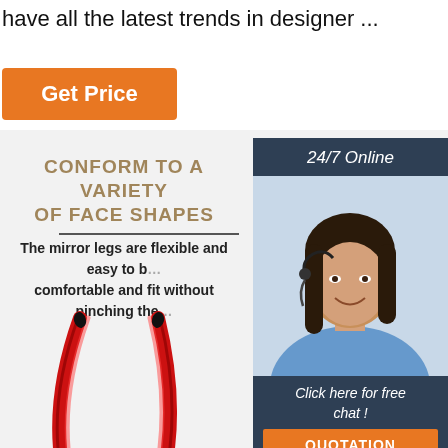have all the latest trends in designer ...
Get Price
[Figure (photo): Customer service representative woman wearing headset with 24/7 Online label and chat popup overlay]
CONFORM TO A VARIETY OF FACE SHAPES
The mirror legs are flexible and easy to bend, comfortable and fit without pinching the...
Click here for free chat !
QUOTATION
[Figure (photo): Red flexible glasses legs/temples curved showing flexibility]
TOP